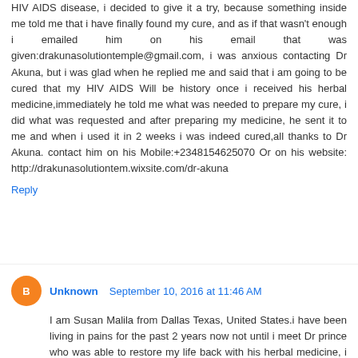HIV AIDS disease, i decided to give it a try, because something inside me told me that i have finally found my cure, and as if that wasn't enough i emailed him on his email that was given:drakunasolutiontemple@gmail.com, i was anxious contacting Dr Akuna, but i was glad when he replied me and said that i am going to be cured that my HIV AIDS Will be history once i received his herbal medicine,immediately he told me what was needed to prepare my cure, i did what was requested and after preparing my medicine, he sent it to me and when i used it in 2 weeks i was indeed cured,all thanks to Dr Akuna. contact him on his Mobile:+2348154625070 Or on his website: http://drakunasolutiontem.wixsite.com/dr-akuna
Reply
Unknown September 10, 2016 at 11:46 AM
I am Susan Malila from Dallas Texas, United States.i have been living in pains for the past 2 years now not until i meet Dr prince who was able to restore my life back with his herbal medicine, i have been HIV positive for the past two years now everyday of my life i cry to God as I was a